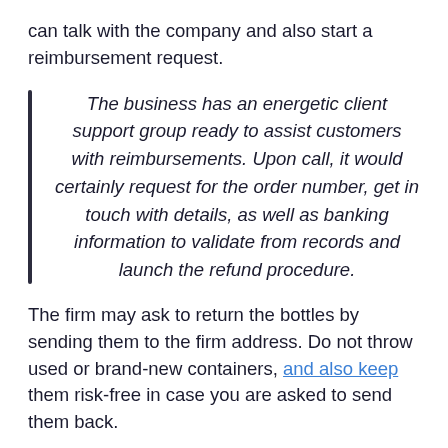can talk with the company and also start a reimbursement request.
The business has an energetic client support group ready to assist customers with reimbursements. Upon call, it would certainly request for the order number, get in touch with details, as well as banking information to validate from records and launch the refund procedure.
The firm may ask to return the bottles by sending them to the firm address. Do not throw used or brand-new containers, and also keep them risk-free in case you are asked to send them back.